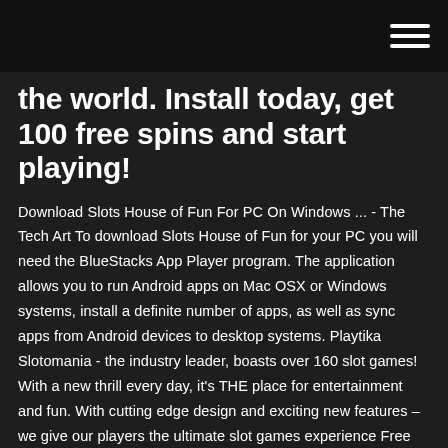[hamburger menu icon]
the world. Install today, get 100 free spins and start playing!
Download Slots House of Fun For PC On Windows ... - The Tech Art To download Slots House of Fun for your PC you will need the BlueStacks App Player program. The application allows you to run Android apps on Mac OSX or Windows systems, install a definite number of apps, as well as sync apps from Android devices to desktop systems. Playtika Slotomania - the industry leader, boasts over 160 slot games! With a new thrill every day, it's THE place for entertainment and fun. With cutting edge design and exciting new features – we give our players the ultimate slot games experience Free House of Fun slot machine |